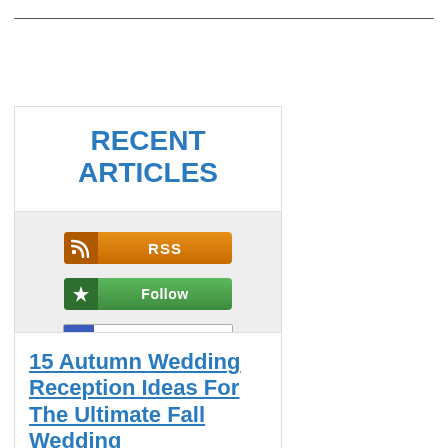RECENT ARTICLES
[Figure (infographic): RSS subscription button (orange), Follow button (green), Add to My Yahoo! button (blue/white)]
15 Autumn Wedding Reception Ideas For The Ultimate Fall Wedding
Aug 31, 22 06:52 PM